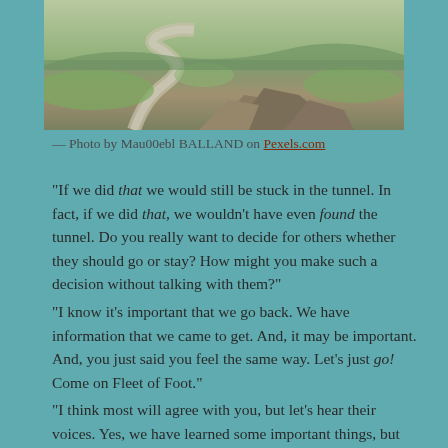[Figure (photo): Landscape photo showing rocky terrain with winding waterway and green fields in the background]
— Photo by Mau00ebl BALLAND on Pexels.com
“If we did that we would still be stuck in the tunnel. In fact, if we did that, we wouldn’t have even found the tunnel. Do you really want to decide for others whether they should go or stay? How might you make such a decision without talking with them?”
“I know it’s important that we go back. We have information that we came to get. And, it may be important. And, you just said you feel the same way. Let’s just go! Come on Fleet of Foot.”
“I think most will agree with you, but let’s hear their voices. Yes, we have learned some important things, but every day that Cat Eyes works with those —